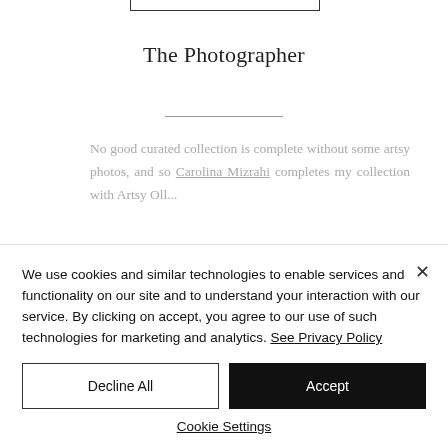The Photographer
No good curated collection is complete without some artsy photos, and so Carolina Mizrahi completes my collection with...
We use cookies and similar technologies to enable services and functionality on our site and to understand your interaction with our service. By clicking on accept, you agree to our use of such technologies for marketing and analytics. See Privacy Policy
Decline All
Accept
Cookie Settings